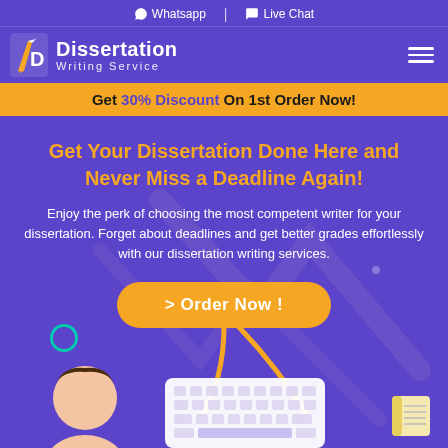Whatsapp | Live Chat
[Figure (logo): Dissertation Writing Service logo with pen/quill icon]
Get 30% Discount On 1st Order Now!
Get Your Dissertation Done Here and Never Miss a Deadline Again!
Enjoy the perk of choosing the most competent writer for your dissertation. Forget about deadlines and get better grades effortlessly with our dissertation writing services.
> Order Now !
[Figure (illustration): Man at desk with keyboard, notebook decorative elements on purple background]